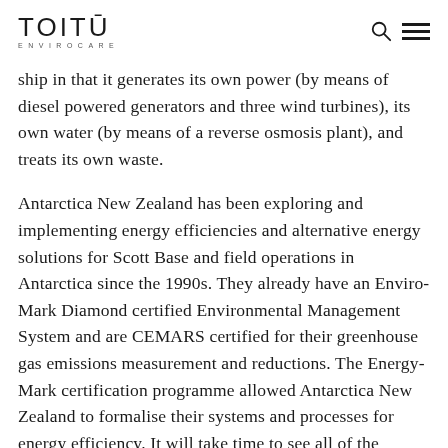TOITŪ ENVIROCARE
ship in that it generates its own power (by means of diesel powered generators and three wind turbines), its own water (by means of a reverse osmosis plant), and treats its own waste.
Antarctica New Zealand has been exploring and implementing energy efficiencies and alternative energy solutions for Scott Base and field operations in Antarctica since the 1990s. They already have an Enviro-Mark Diamond certified Environmental Management System and are CEMARS certified for their greenhouse gas emissions measurement and reductions. The Energy-Mark certification programme allowed Antarctica New Zealand to formalise their systems and processes for energy efficiency. It will take time to see all of the results of their Energy